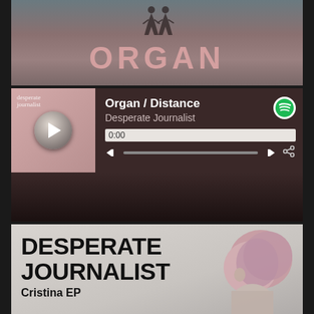[Figure (photo): Photo showing two running figures on a dirt path, with text ORGAN overlaid in large pink letters]
[Figure (screenshot): Spotify music player widget showing Organ / Distance by Desperate Journalist, with play button, progress bar at 0:00, skip and share controls, and Spotify logo]
[Figure (photo): Album art for Desperate Journalist - Cristina EP, showing large bold text DESPERATE JOURNALIST and Cristina EP subtitle, with a person with pink/blonde hair visible on the right side against a grey sky background]